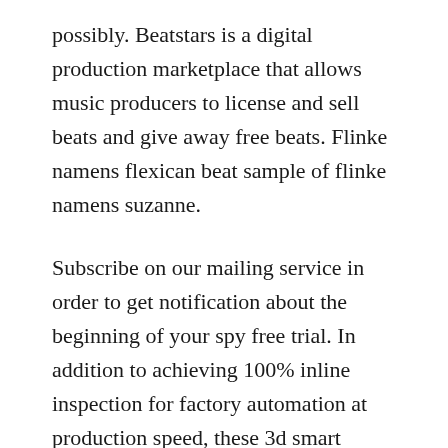possibly. Beatstars is a digital production marketplace that allows music producers to license and sell beats and give away free beats. Flinke namens flexican beat sample of flinke namens suzanne.
Subscribe on our mailing service in order to get notification about the beginning of your spy free trial. In addition to achieving 100% inline inspection for factory automation at production speed, these 3d smart sensors can now capture 3d scans to create full digital 3d models of parts for offline analysis. Free can